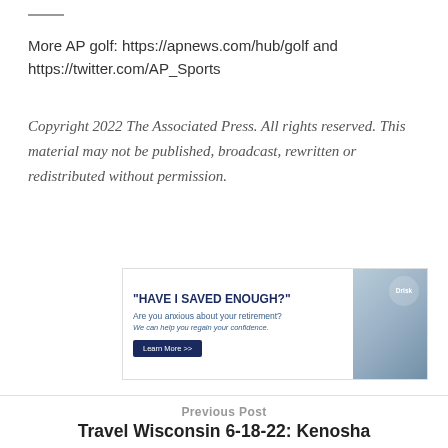More AP golf: https://apnews.com/hub/golf and https://twitter.com/AP_Sports
Copyright 2022 The Associated Press. All rights reserved. This material may not be published, broadcast, rewritten or redistributed without permission.
[Figure (illustration): Advertisement banner: "HAVE I SAVED ENOUGH?" retirement ad with photo of elderly couple and a Learn More button.]
Previous Post
Travel Wisconsin 6-18-22: Kenosha